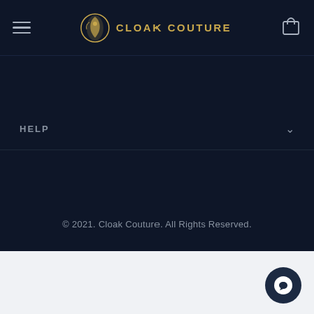[Figure (logo): Cloak Couture logo with golden emblem and text on dark navy background, with hamburger menu icon on left and shopping bag icon on right]
HELP
STORE
FOLLOW US
[Figure (infographic): Facebook and Instagram social media icons in white on dark navy background]
© 2021. Cloak Couture. All Rights Reserved.